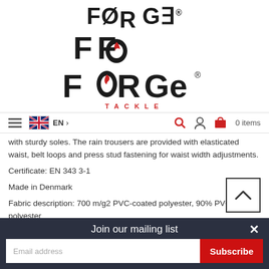[Figure (logo): Forge Tackle logo with stylized text and red flame in the O, with TACKLE written below in red spaced letters and a registered trademark symbol]
[Figure (screenshot): Navigation bar with hamburger menu, UK flag, EN language selector, search icon, user icon, and cart showing 0 items]
with sturdy soles. The rain trousers are provided with elasticated waist, belt loops and press stud fastening for waist width adjustments.
Certificate: EN 343 3-1
Made in Denmark
Fabric description: 700 m/g2 PVC-coated polyester, 90% PVC / 10% polyester
Water resistance: 20,000 mm
Sizes: 43-46
Colour: dark olive
Join our mailing list
Email address